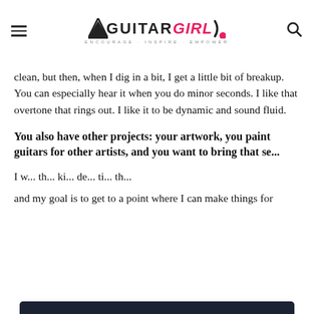Guitar Girl Magazine
clean, but then, when I dig in a bit, I get a little bit of breakup. You can especially hear it when you do minor seconds. I like that overtone that rings out. I like it to be dynamic and sound fluid.
You also have other projects: your artwork, you paint guitars for other artists, and you want to bring that se...
I w... th... ki... de... ti... th...
Cookie consent
This website uses cookies to improve your experience. We will assume you are ok with this, but you can opt-out if you wish. Read More
and my goal is to get to a point where I can make things for